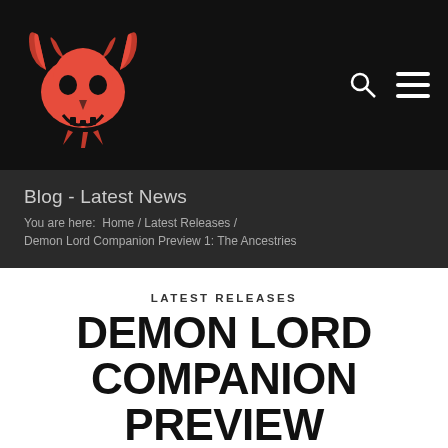[Figure (logo): Red demon skull logo on black navigation bar with search icon and hamburger menu icon]
Blog - Latest News
You are here: Home / Latest Releases / Demon Lord Companion Preview 1: The Ancestries
LATEST RELEASES
DEMON LORD COMPANION PREVIEW 1: THE ANCESTRIES
Ancestries in Shadow of the Demon Lord